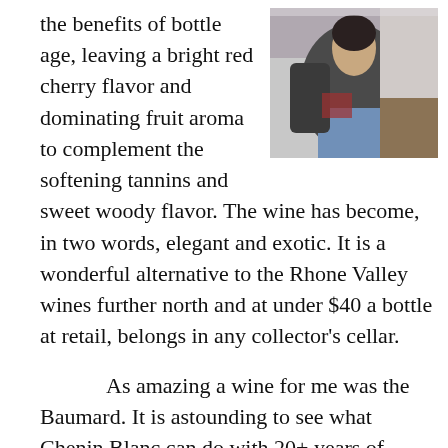the benefits of bottle age, leaving a bright red cherry flavor and dominating fruit aroma to complement the softening tannins and sweet woody flavor. The wine has become, in two words, elegant and exotic. It is a wonderful alternative to the Rhone Valley wines further north and at under $40 a bottle at retail, belongs in any collector's cellar.
[Figure (photo): A photograph of a person, partially visible, appears to be leaning or seated near a countertop or bar area.]
As amazing a wine for me was the Baumard. It is astounding to see what Chenin Blanc can do with 20+ years of bottle age. The wine retains its minerality and slate-like tones, continues to show good acidity, and combines it with advanced aromas and a rich mouthfeel that simultaneously represents and belies its age. A totally dry Chenin from